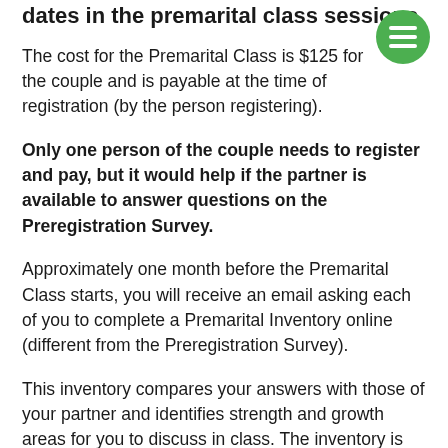dates in the premarital class sessions.
The cost for the Premarital Class is $125 for the couple and is payable at the time of registration (by the person registering).
Only one person of the couple needs to register and pay, but it would help if the partner is available to answer questions on the Preregistration Survey.
Approximately one month before the Premarital Class starts, you will receive an email asking each of you to complete a Premarital Inventory online (different from the Preregistration Survey).
This inventory compares your answers with those of your partner and identifies strength and growth areas for you to discuss in class. The inventory is